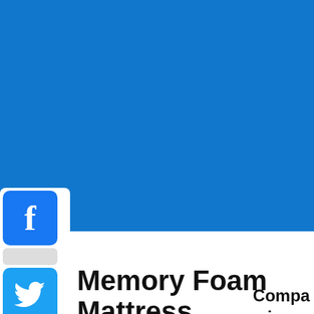[Figure (screenshot): Blue banner header background covering top portion of page, representing a website header area for a mattress review site.]
[Figure (infographic): Social media sharing sidebar with Facebook, Twitter, Pinterest, and share buttons stacked vertically on the left side of the page.]
Memory Foam Mattress Reviews
[Figure (photo): Blue rectangular image block at the bottom of the page, partially cropped.]
Comparison Of